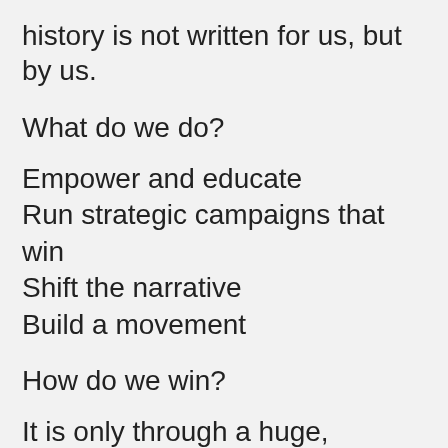history is not written for us, but by us.
What do we do?
Empower and educate
Run strategic campaigns that win
Shift the narrative
Build a movement
How do we win?
It is only through a huge, diverse and committed social movement, led by those with the most at stake, that we will see just and sustainable solutions to the climate crisis